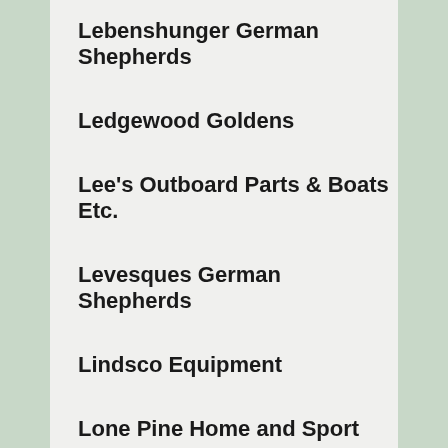Lebenshunger German Shepherds
Ledgewood Goldens
Lee's Outboard Parts & Boats Etc.
Levesques German Shepherds
Lindsco Equipment
Lone Pine Home and Sport
MId-Maine Millwork